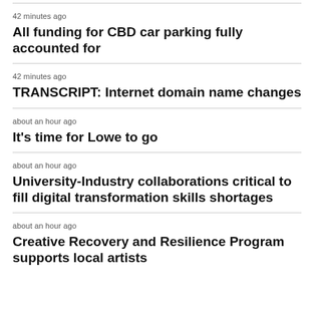42 minutes ago
All funding for CBD car parking fully accounted for
42 minutes ago
TRANSCRIPT: Internet domain name changes
about an hour ago
It's time for Lowe to go
about an hour ago
University-Industry collaborations critical to fill digital transformation skills shortages
about an hour ago
Creative Recovery and Resilience Program supports local artists